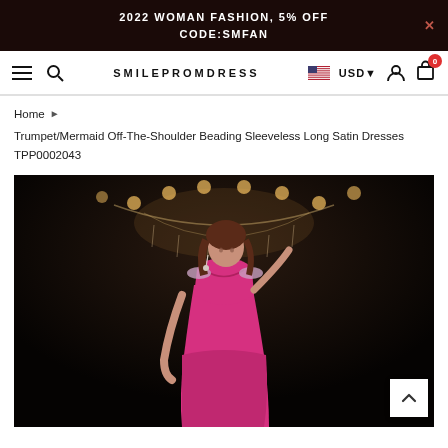2022 WOMAN FASHION, 5% OFF CODE:SMFAN
SMILEPROMDRESS  USD
Home ▶ Trumpet/Mermaid Off-The-Shoulder Beading Sleeveless Long Satin Dresses TPP0002043
[Figure (photo): Woman in a hot pink off-the-shoulder beaded prom dress posing under a crystal chandelier against a dark background.]